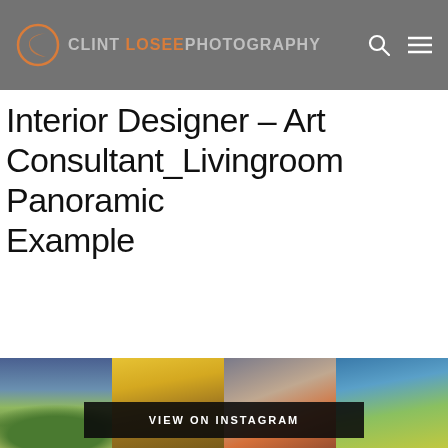CLINT LOSEE PHOTOGRAPHY
Interior Designer – Art Consultant_Livingroom Panoramic Example
[Figure (photo): Instagram photo strip with four landscape nature photos and a 'VIEW ON INSTAGRAM' button overlay]